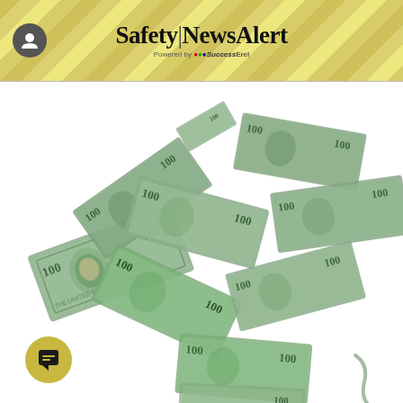Safety|NewsAlert — Powered by SuccessErel
[Figure (illustration): Multiple US $100 dollar bills flying, scattered and swirling dynamically against a white background, illustrating money/fines concept for a safety news alert publication.]